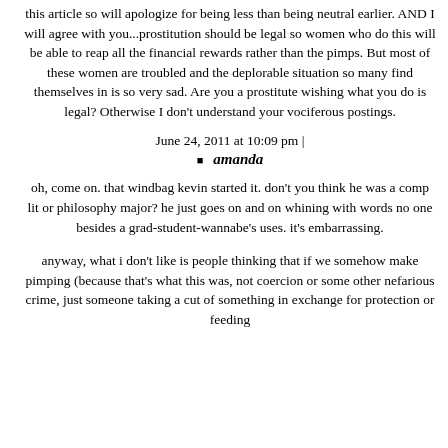this article so will apologize for being less than being neutral earlier. AND I will agree with you...prostitution should be legal so women who do this will be able to reap all the financial rewards rather than the pimps. But most of these women are troubled and the deplorable situation so many find themselves in is so very sad. Are you a prostitute wishing what you do is legal? Otherwise I don't understand your vociferous postings.
June 24, 2011 at 10:09 pm |
amanda
oh, come on. that windbag kevin started it. don't you think he was a comp lit or philosophy major? he just goes on and on whining with words no one besides a grad-student-wannabe's uses. it's embarrassing.
anyway, what i don't like is people thinking that if we somehow make pimping (because that's what this was, not coercion or some other nefarious crime, just someone taking a cut of something in exchange for protection or feeding